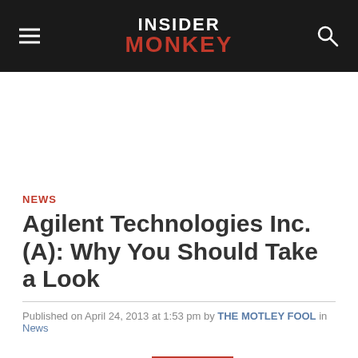INSIDER MONKEY
NEWS
Agilent Technologies Inc. (A): Why You Should Take a Look
Published on April 24, 2013 at 1:53 pm by THE MOTLEY FOOL in News
Page 1 of 2  Next >>  See All